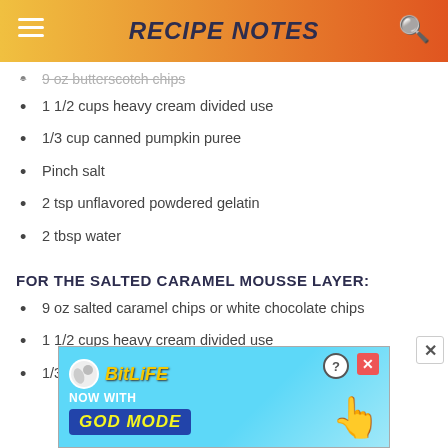RECIPE NOTES
9 oz butterscotch chips
1 1/2 cups heavy cream divided use
1/3 cup canned pumpkin puree
Pinch salt
2 tsp unflavored powdered gelatin
2 tbsp water
FOR THE SALTED CARAMEL MOUSSE LAYER:
9 oz salted caramel chips or white chocolate chips
1 1/2 cups heavy cream divided use
1/3 cup thick salted caramel sauce
[Figure (screenshot): BitLife advertisement banner - NOW WITH GOD MODE]